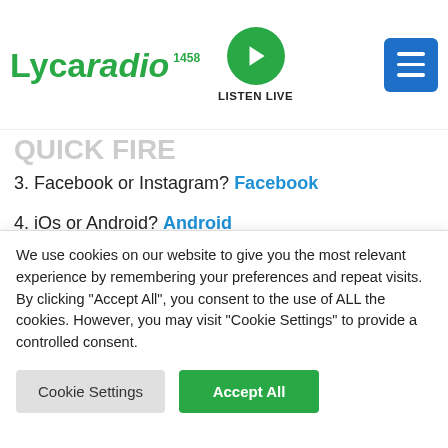Lycaradio 1458 — LISTEN LIVE
3. Facebook or Instagram? Facebook
4. iOs or Android? Android
5. Rich or Loyalty? Loyalty
6. Bath or Shower? Shower
7. Boots or Flip Flops? Flip Flops
8. Amusement park or Beach day? Beach Day
9. Coffee or Tea? Coffee
We use cookies on our website to give you the most relevant experience by remembering your preferences and repeat visits. By clicking "Accept All", you consent to the use of ALL the cookies. However, you may visit "Cookie Settings" to provide a controlled consent.